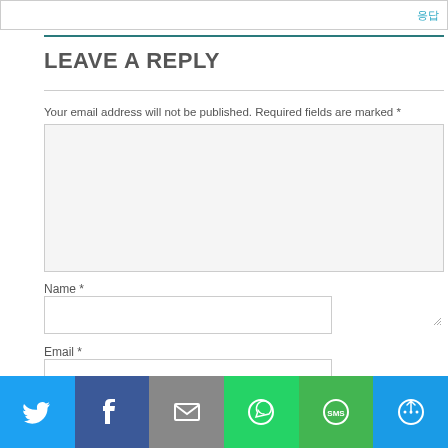LEAVE A REPLY
Your email address will not be published. Required fields are marked *
Name *
Email *